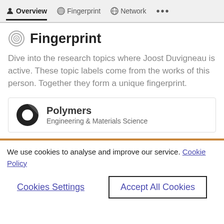Overview  Fingerprint  Network  ...
Fingerprint
Dive into the research topics where Joost Duvigneau is active. These topic labels come from the works of this person. Together they form a unique fingerprint.
Polymers
Engineering & Materials Science
We use cookies to analyse and improve our service. Cookie Policy
Cookies Settings  Accept All Cookies